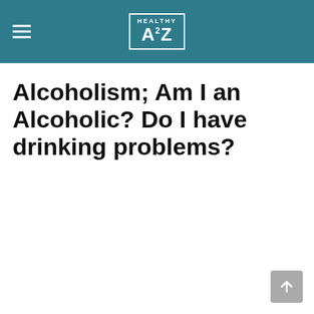Healthy A2Z
Alcoholism; Am I an Alcoholic? Do I have drinking problems?